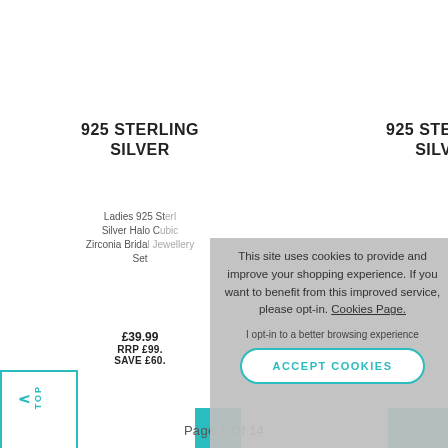925 STERLING SILVER
925 STERLING SILVER
Ladies 925 Sterling Silver Halo Cubic Zirconia Bridal Jewellery Set
£39.99
RRP £99.
SAVE £60.
This site uses cookies to provide and improve your shopping experience. If you want to benefit from this improved service, please opt-in. Cookies Page.
I opt-in to a better browsing experience
ACCEPT COOKIES
Page 1 Of 14